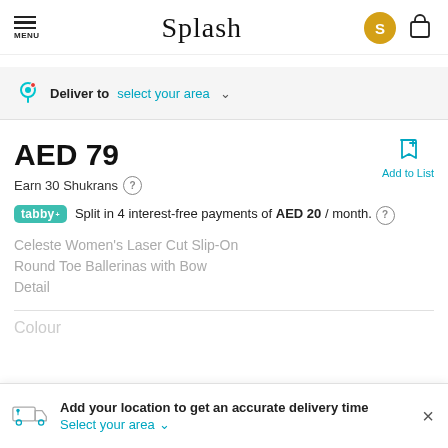Splash
Deliver to select your area
AED 79
Earn 30 Shukrans
Split in 4 interest-free payments of AED 20 / month.
Celeste Women's Laser Cut Slip-On Round Toe Ballerinas with Bow Detail
Colour
Add your location to get an accurate delivery time Select your area